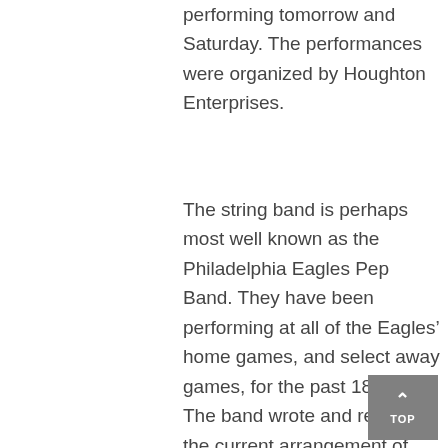performing tomorrow and Saturday. The performances were organized by Houghton Enterprises.
The string band is perhaps most well known as the Philadelphia Eagles Pep Band. They have been performing at all of the Eagles' home games, and select away games, for the past 18 years. The band wrote and recorded the current arrangement of “Fly Eagles Fly” and gave the fight song that official title. The group first got together 34 years ago, and they were originally a rock band. “Over the course of time...